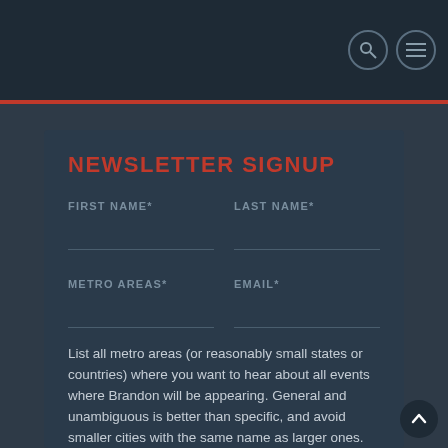NEWSLETTER SIGNUP
FIRST NAME*
LAST NAME*
METRO AREAS*
EMAIL*
List all metro areas (or reasonably small states or countries) where you want to hear about all events where Brandon will be appearing. General and unambiguous is better than specific, and avoid smaller cities with the same name as larger ones. Examples: Utah Valley, Orange County, Bay Area, Washington DC. If you're in